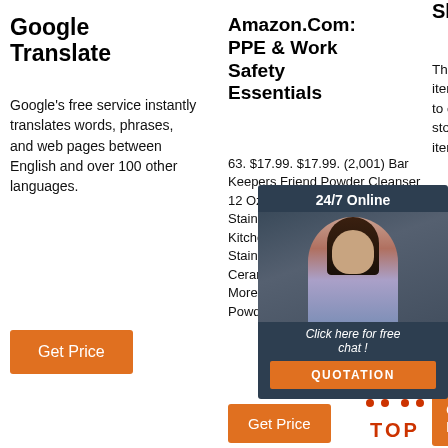Google Translate
Google's free service instantly translates words, phrases, and web pages between English and over 100 other languages.
Get Price
Amazon.Com: PPE & Work Safety Essentials
63. $17.99. $17.99. (2,001) Bar Keepers Friend Powder Cleanser 12 Oz - Multipurpose Cleaner & Stain Remover - Bathroom, Kitchen & Outdoor Use - for Stainless Steel, Aluminum, Brass, Ceramic, Porcelain, Bronze and More (2 Pack) Bar Keepers Friend Powder Cleanser 12 …
Get Price
Get Price
Amazon.Ae Shopping Cart
The price and availability of items at Amazon.ae are subject to change. The Cart temporarily store a list of items and each item's most recent price.
Get Price
[Figure (photo): Woman with headset - 24/7 Online chat popup with 'Click here for free chat! QUOTATION' button]
[Figure (other): TOP button with orange arrow pointing up]